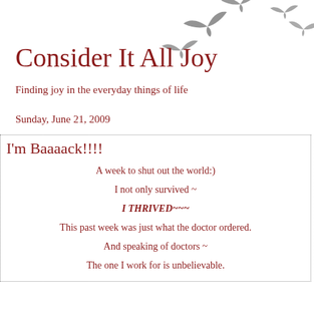[Figure (illustration): Silhouettes of birds (flying doves/swallows) in grey, arranged in a scattered flock pattern in the upper right area of the header]
Consider It All Joy
Finding joy in the everyday things of life
Sunday, June 21, 2009
I'm Baaaack!!!!
A week to shut out the world:)
I not only survived ~
I THRIVED~~~
This past week was just what the doctor ordered.
And speaking of doctors ~
The one I work for is unbelievable.